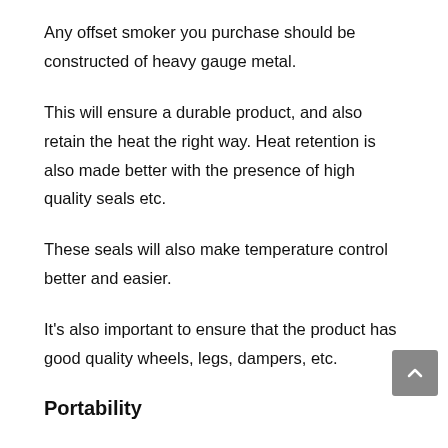Any offset smoker you purchase should be constructed of heavy gauge metal.
This will ensure a durable product, and also retain the heat the right way. Heat retention is also made better with the presence of high quality seals etc.
These seals will also make temperature control better and easier.
It's also important to ensure that the product has good quality wheels, legs, dampers, etc.
Portability